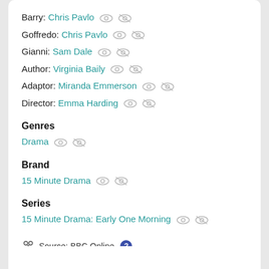Barry: Chris Pavlo
Goffredo: Chris Pavlo
Gianni: Sam Dale
Author: Virginia Baily
Adaptor: Miranda Emmerson
Director: Emma Harding
Genres
Drama
Brand
15 Minute Drama
Series
15 Minute Drama: Early One Morning
Source: BBC Online